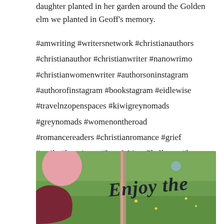daughter planted in her garden around the Golden elm we planted in Geoff's memory.
#amwriting #writersnetwork #christianauthors #christianauthor #christianwriter #nanowrimo #christianwomenwriter #authorsoninstagram #authorofinstagram #bookstagram #eidlewise #travelnzopenspaces #kiwigreynomads #greynomads #womenontheroad #romancereaders #christianromance #grief #smile #happiness #InstaWrimoChallenge #love #workethic #tulips
[Figure (photo): Photo of a grassy outdoor scene with a young tree. Overlaid cursive script reads 'Enjoy the' with decorative pink and dark red circular shapes on the left side.]